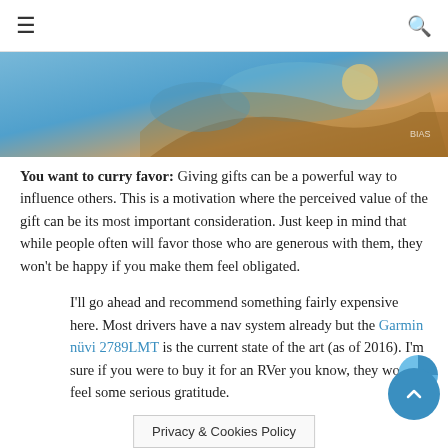≡  🔍
[Figure (photo): Colorful illustrated image, partially visible at top of page]
You want to curry favor: Giving gifts can be a powerful way to influence others. This is a motivation where the perceived value of the gift can be its most important consideration. Just keep in mind that while people often will favor those who are generous with them, they won't be happy if you make them feel obligated.
I'll go ahead and recommend something fairly expensive here. Most drivers have a nav system already but the Garmin nüvi 2789LMT is the current state of the art (as of 2016). I'm sure if you were to buy it for an RVer you know, they would feel some serious gratitude.
Privacy & Cookies Policy